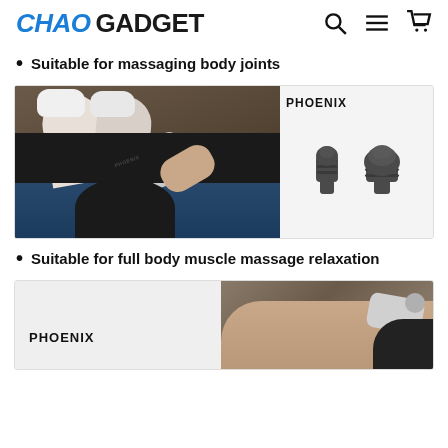CHAO GADGET
Suitable for massaging body joints
[Figure (photo): Product image showing Phoenix massage gun being used on a person's legs, alongside two massage head attachments on a light grey background with PHOENIX label.]
Suitable for full body muscle massage relaxation
[Figure (photo): Bottom card showing PHOENIX label on left panel and a photo of massage gun being used on a person's neck/shoulder on the right.]